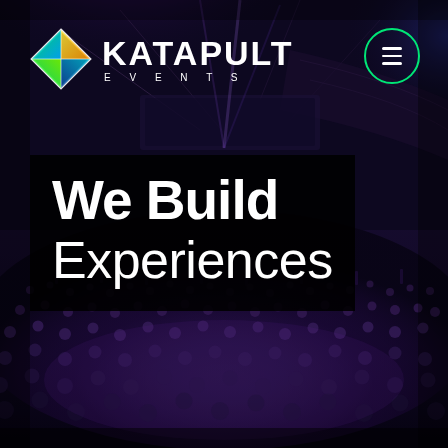[Figure (photo): Concert/event background: a large indoor arena with a crowd of thousands, purple and blue stage lighting, spotlights from above, arena seating visible in upper portion. Dark, atmospheric mood with purple hues.]
[Figure (logo): Katapult Events logo: a diamond/rhombus shaped icon with colorful geometric facets (green, yellow, blue, teal), followed by 'KATAPULT' in large bold white letters and 'EVENTS' in spaced uppercase letters below.]
[Figure (other): Circular hamburger menu button with green outline circle and three white horizontal lines (≡) inside, positioned top-right.]
We Build Experiences